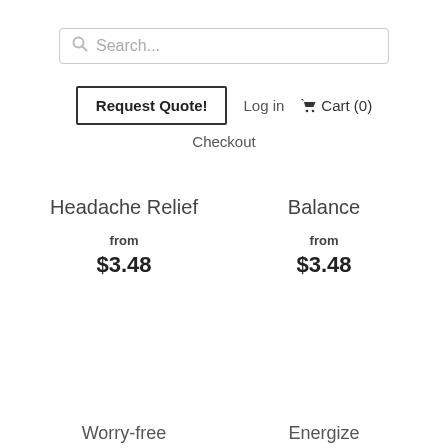[Figure (screenshot): Search bar with magnifying glass icon and placeholder text 'Search...']
Request Quote!   Log in   Cart (0)   Checkout
Headache Relief
from
$3.48
Balance
from
$3.48
Worry-free
Energize